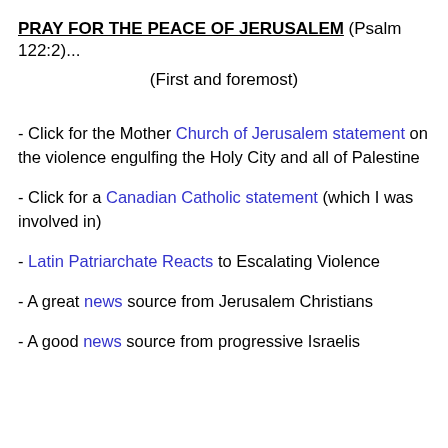PRAY FOR THE PEACE OF JERUSALEM (Psalm 122:2)...
(First and foremost)
- Click for the Mother Church of Jerusalem statement on the violence engulfing the Holy City and all of Palestine
- Click for a Canadian Catholic statement (which I was involved in)
- Latin Patriarchate Reacts to Escalating Violence
- A great news source from Jerusalem Christians
- A good news source from progressive Israelis